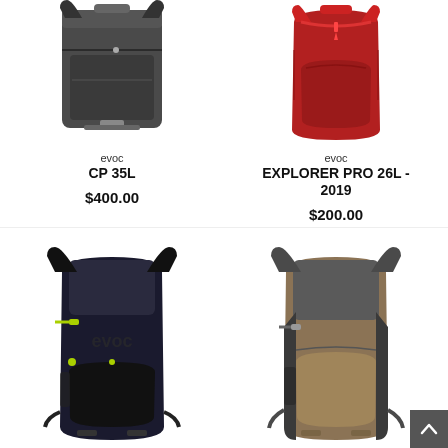[Figure (photo): EVOC CP 35L dark grey backpack, travel style]
evoc
CP 35L
$400.00
[Figure (photo): EVOC Explorer Pro 26L red backpack with red shoulder straps]
evoc
EXPLORER PRO 26L - 2019
$200.00
[Figure (photo): EVOC black backpack with yellow-green accents and EVOC logo on front]
[Figure (photo): EVOC tan/gold and grey backpack, trail style]